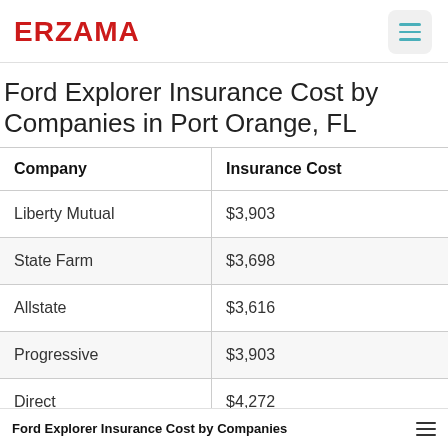ERZAMA
Ford Explorer Insurance Cost by Companies in Port Orange, FL
| Company | Insurance Cost |
| --- | --- |
| Liberty Mutual | $3,903 |
| State Farm | $3,698 |
| Allstate | $3,616 |
| Progressive | $3,903 |
| Direct | $4,272 |
Ford Explorer Insurance Cost by Companies